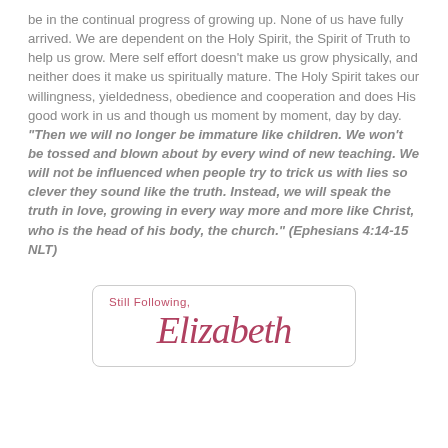be in the continual progress of growing up. None of us have fully arrived. We are dependent on the Holy Spirit, the Spirit of Truth to help us grow. Mere self effort doesn't make us grow physically, and neither does it make us spiritually mature. The Holy Spirit takes our willingness, yieldedness, obedience and cooperation and does His good work in us and though us moment by moment, day by day. "Then we will no longer be immature like children. We won't be tossed and blown about by every wind of new teaching. We will not be influenced when people try to trick us with lies so clever they sound like the truth. Instead, we will speak the truth in love, growing in every way more and more like Christ, who is the head of his body, the church." (Ephesians 4:14-15 NLT)
[Figure (other): Signature box with rounded border containing the text 'Still Following,' and a cursive signature 'Elizabeth' in dark rose/crimson color.]